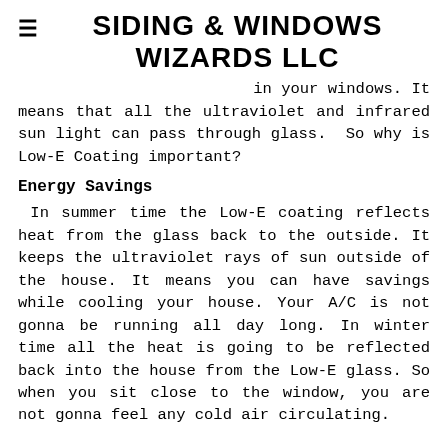SIDING & WINDOWS WIZARDS LLC
in your windows. It means that all the ultraviolet and infrared sun light can pass through glass. So why is Low-E Coating important?
Energy Savings
In summer time the Low-E coating reflects heat from the glass back to the outside. It keeps the ultraviolet rays of sun outside of the house. It means you can have savings while cooling your house. Your A/C is not gonna be running all day long. In winter time all the heat is going to be reflected back into the house from the Low-E glass. So when you sit close to the window, you are not gonna feel any cold air circulating.